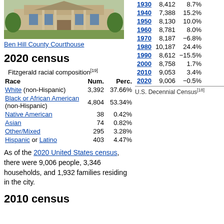[Figure (photo): Ben Hill County Courthouse building exterior with lawn]
Ben Hill County Courthouse
2020 census
| Race | Num. | Perc. |
| --- | --- | --- |
| White (non-Hispanic) | 3,392 | 37.66% |
| Black or African American (non-Hispanic) | 4,804 | 53.34% |
| Native American | 38 | 0.42% |
| Asian | 74 | 0.82% |
| Other/Mixed | 295 | 3.28% |
| Hispanic or Latino | 403 | 4.47% |
| Year | Pop. | %± |
| --- | --- | --- |
| 1930 | 8,412 | 8.7% |
| 1940 | 7,388 | 15.2% |
| 1950 | 8,130 | 10.0% |
| 1960 | 8,781 | 8.0% |
| 1970 | 8,187 | −6.8% |
| 1980 | 10,187 | 24.4% |
| 1990 | 8,612 | −15.5% |
| 2000 | 8,758 | 1.7% |
| 2010 | 9,053 | 3.4% |
| 2020 | 9,006 | −0.5% |
U.S. Decennial Census[18]
As of the 2020 United States census, there were 9,006 people, 3,346 households, and 1,932 families residing in the city.
2010 census